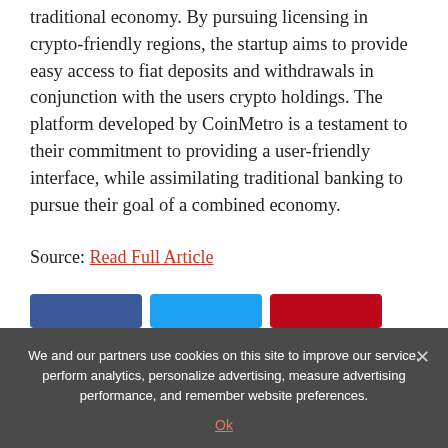traditional economy. By pursuing licensing in crypto-friendly regions, the startup aims to provide easy access to fiat deposits and withdrawals in conjunction with the users crypto holdings. The platform developed by CoinMetro is a testament to their commitment to providing a user-friendly interface, while assimilating traditional banking to pursue their goal of a combined economy.
Source: Read Full Article
[Figure (other): Three social share buttons: Facebook (blue), Twitter (light blue), Pinterest (red)]
We and our partners use cookies on this site to improve our service, perform analytics, personalize advertising, measure advertising performance, and remember website preferences.
Ok